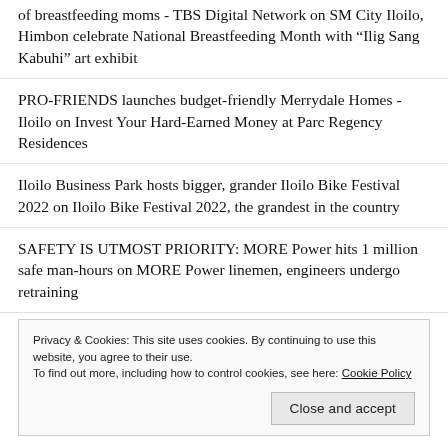of breastfeeding moms - TBS Digital Network on SM City Iloilo, Himbon celebrate National Breastfeeding Month with “Ilig Sang Kabuhi” art exhibit
PRO-FRIENDS launches budget-friendly Merrydale Homes - Iloilo on Invest Your Hard-Earned Money at Parc Regency Residences
Iloilo Business Park hosts bigger, grander Iloilo Bike Festival 2022 on Iloilo Bike Festival 2022, the grandest in the country
SAFETY IS UTMOST PRIORITY: MORE Power hits 1 million safe man-hours on MORE Power linemen, engineers undergo retraining
Privacy & Cookies: This site uses cookies. By continuing to use this website, you agree to their use.
To find out more, including how to control cookies, see here: Cookie Policy